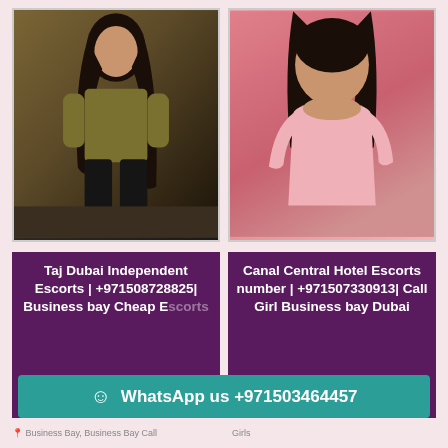[Figure (photo): Young woman in olive/mustard top and black pants posing indoors]
[Figure (photo): Young woman in pink top posing against pink background]
Taj Dubai Independent Escorts | +971508728825| Business bay Cheap Escorts
Canal Central Hotel Escorts number | +971507330913| Call Girl Business bay Dubai
Business Bay, Business Bay Call
Girls
WhatsApp us +971503464457